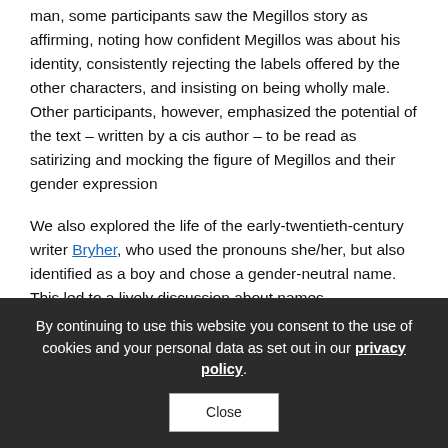man, some participants saw the Megillos story as affirming, noting how confident Megillos was about his identity, consistently rejecting the labels offered by the other characters, and insisting on being wholly male. Other participants, however, emphasized the potential of the text – written by a cis author – to be read as satirizing and mocking the figure of Megillos and their gender expression
We also explored the life of the early-twentieth-century writer Bryher, who used the pronouns she/her, but also identified as a boy and chose a gender-neutral name. This led to a lively discussion about names, pseudonyms,
By continuing to use this website you consent to the use of cookies and your personal data as set out in our privacy policy.